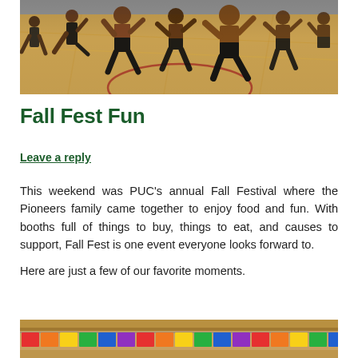[Figure (photo): Dancers performing in a gymnasium with wooden floors, wearing black shorts, performing a traditional dance with energetic poses.]
Fall Fest Fun
Leave a reply
This weekend was PUC's annual Fall Festival where the Pioneers family came together to enjoy food and fun. With booths full of things to buy, things to eat, and causes to support, Fall Fest is one event everyone looks forward to.
Here are just a few of our favorite moments.
[Figure (photo): Colorful paper flags and decorations hanging at a booth or building, with bright rainbow colors including red, orange, yellow, green, blue, and purple.]